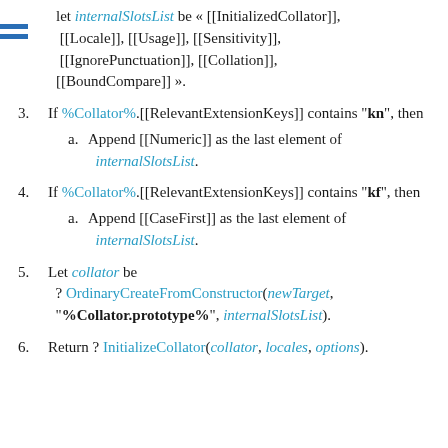let internalSlotsList be « [[InitializedCollator]], [[Locale]], [[Usage]], [[Sensitivity]], [[IgnorePunctuation]], [[Collation]], [[BoundCompare]] ».
3. If %Collator%.[[RelevantExtensionKeys]] contains "kn", then
  a. Append [[Numeric]] as the last element of internalSlotsList.
4. If %Collator%.[[RelevantExtensionKeys]] contains "kf", then
  a. Append [[CaseFirst]] as the last element of internalSlotsList.
5. Let collator be ? OrdinaryCreateFromConstructor(newTarget, "%Collator.prototype%", internalSlotsList).
6. Return ? InitializeCollator(collator, locales, options).